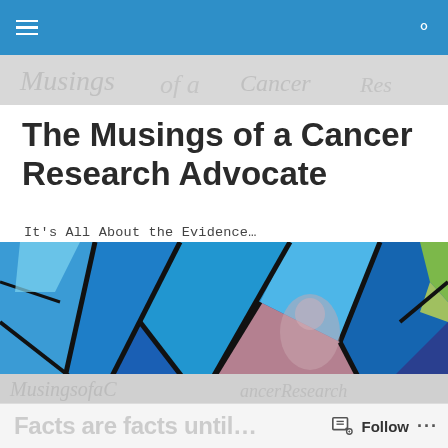The Musings of a Cancer Research Advocate
It's All About the Evidence…
[Figure (photo): Stained glass artwork in shades of blue and purple with black leading lines, with some green and pink/mauve areas]
TAGGED WITH EVIDENCE-BASED ONCOLOGY
Facts are facts until… Follow …